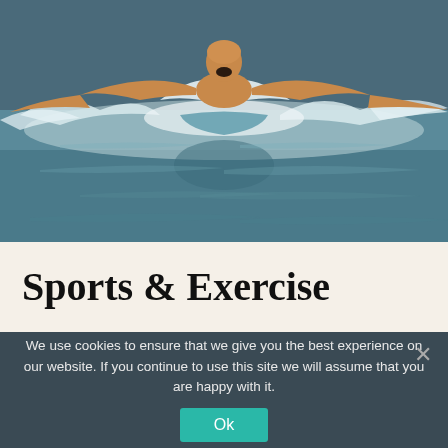[Figure (photo): Swimmer performing butterfly stroke in a pool, water splashing around them, arms spread wide, mouth open]
Sports & Exercise
We use cookies to ensure that we give you the best experience on our website. If you continue to use this site we will assume that you are happy with it.